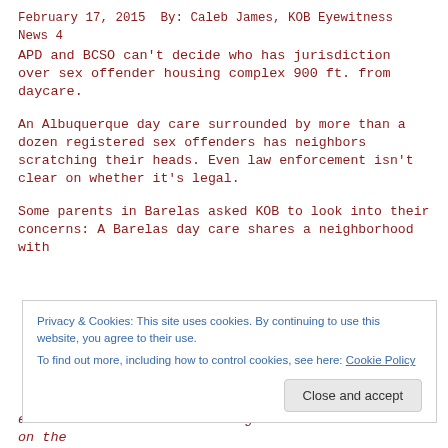February 17, 2015  By: Caleb James, KOB Eyewitness News 4
APD and BCSO can't decide who has jurisdiction over sex offender housing complex 900 ft. from daycare.
An Albuquerque day care surrounded by more than a dozen registered sex offenders has neighbors scratching their heads. Even law enforcement isn't clear on whether it's legal.
Some parents in Barelas asked KOB to look into their concerns: A Barelas day care shares a neighborhood with
Privacy & Cookies: This site uses cookies. By continuing to use this website, you agree to their use.
To find out more, including how to control cookies, see here: Cookie Policy
even feel comfortable walking to the little store on the